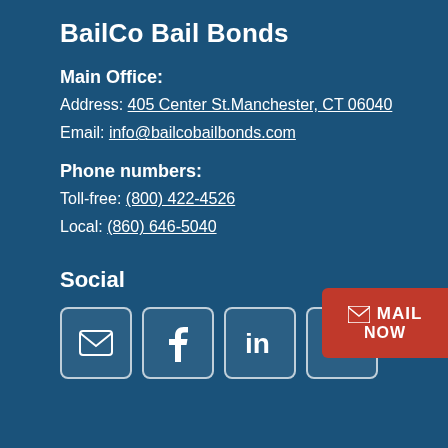BailCo Bail Bonds
Main Office:
Address: 405 Center St.Manchester, CT 06040
Email: info@bailcobailbonds.com
Phone numbers:
Toll-free: (800) 422-4526
Local: (860) 646-5040
Social
[Figure (infographic): Four social media icon boxes (email, Facebook, LinkedIn, phone) and a red MAIL NOW button]
MAIL NOW